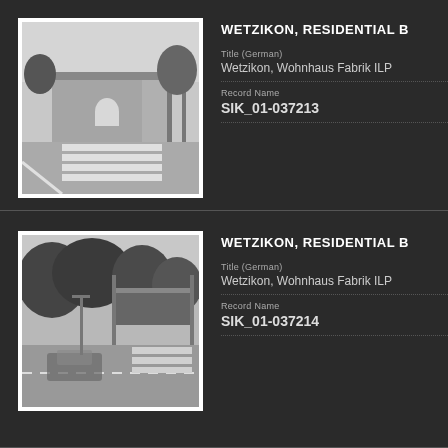[Figure (photo): Black and white photograph of a factory/industrial building with a road and crosswalk in the foreground, trees visible]
WETZIKON, RESIDENTIAL B...
Title (German)
Wetzikon, Wohnhaus Fabrik ILP...
Record Name
SIK_01-037213
[Figure (photo): Black and white photograph of road with moving car, industrial structure and trees in background]
WETZIKON, RESIDENTIAL B...
Title (German)
Wetzikon, Wohnhaus Fabrik ILP...
Record Name
SIK_01-037214